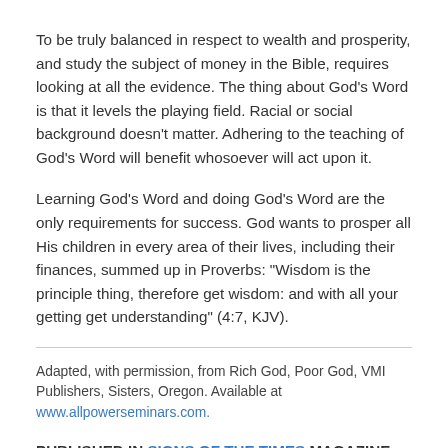To be truly balanced in respect to wealth and prosperity, and study the subject of money in the Bible, requires looking at all the evidence. The thing about God's Word is that it levels the playing field. Racial or social background doesn't matter. Adhering to the teaching of God's Word will benefit whosoever will act upon it.
Learning God's Word and doing God's Word are the only requirements for success. God wants to prosper all His children in every area of their lives, including their finances, summed up in Proverbs: "Wisdom is the principle thing, therefore get wisdom: and with all your getting get understanding" (4:7, KJV).
Adapted, with permission, from Rich God, Poor God, VMI Publishers, Sisters, Oregon. Available at www.allpowerseminars.com.
PUBLISHED IN SIGNS OF THE TIMES MAGAZINE.